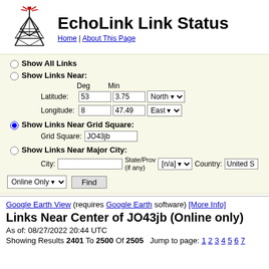EchoLink Link Status
Home | About This Page
Show All Links
Show Links Near:
Latitude: 53 deg, 3.75 min, North
Longitude: 8 deg, 47.49 min, East
Show Links Near Grid Square:
Grid Square: JO43jb
Show Links Near Major City:
City: [blank] State/Prov (if any): [n/a] Country: United S
Online Only [dropdown] Find
Google Earth View (requires Google Earth software) [More Info]
Links Near Center of JO43jb (Online only)
As of: 08/27/2022 20:44 UTC
Showing Results 2401 To 2500 Of 2505   Jump to page: 1 2 3 4 5 6 7